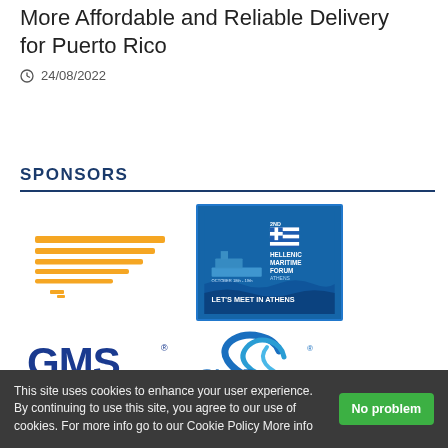More Affordable and Reliable Delivery for Puerto Rico
24/08/2022
SPONSORS
[Figure (logo): Orange stylized bird/swift logo (Gazelle / shipping company)]
[Figure (logo): 2nd Hellenic Maritime Forum Athens, October 18th-19th, LET'S MEET IN ATHENS – blue banner with ship and Greek flag]
[Figure (logo): GMS logo in dark blue bold letters with registered trademark]
[Figure (logo): Partially visible blue swirl logo with registered trademark]
This site uses cookies to enhance your user experience. By continuing to use this site, you agree to our use of cookies. For more info go to our Cookie Policy More info